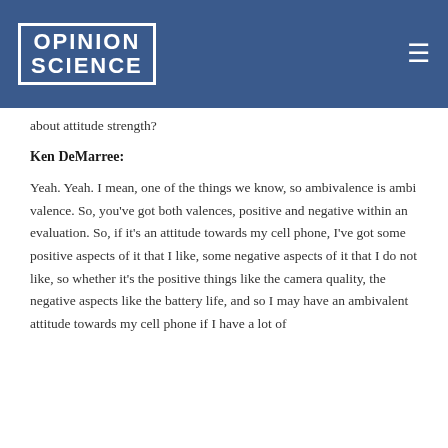OPINION SCIENCE
about attitude strength?
Ken DeMarree:
Yeah. Yeah. I mean, one of the things we know, so ambivalence is ambi valence. So, you've got both valences, positive and negative within an evaluation. So, if it's an attitude towards my cell phone, I've got some positive aspects of it that I like, some negative aspects of it that I do not like, so whether it's the positive things like the camera quality, the negative aspects like the battery life, and so I may have an ambivalent attitude towards my cell phone if I have a lot of